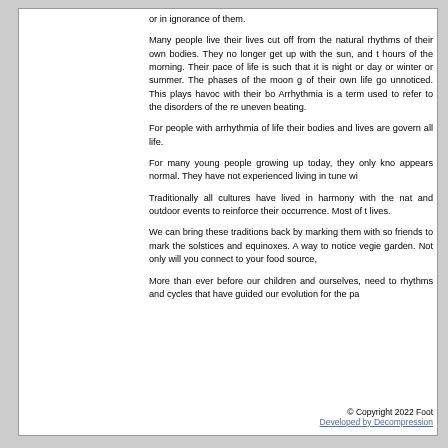or in ignorance of them.
Many people live their lives cut off from the natural rhythms of their own bodies. They no longer get up with the sun, and t hours of the morning. Their pace of life is such that it is night or day or winter or summer. The phases of the moon g of their own life go unnoticed. This plays havoc with their bo Arrhythmia is a term used to refer to the disorders of the re uneven beating.
For people with arrhythmia of life their bodies and lives are govern all life.
For many young people growing up today, they only kno appears normal. They have not experienced living in tune wi
Traditionally all cultures have lived in harmony with the nat and outdoor events to reinforce their occurrence. Most of t lives.
We can bring these traditions back by marking them with so friends to mark the solstices and equinoxes. A way to notice vegie garden. Not only will you connect to your food source,
More than ever before our children and ourselves, need to rhythms and cycles that have guided our evolution for the pa
© Copyright 2022 Foot
Developed by Decompression